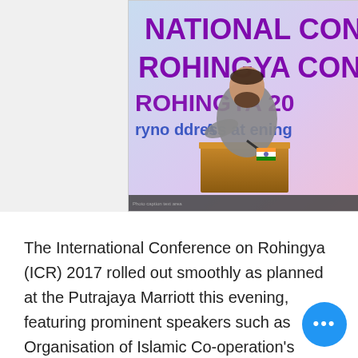[Figure (photo): A man with a beard speaking at a podium at the International Conference on Rohingya (ICR) 2017. Behind him is a large banner reading 'INTERNATIONAL CONFERENCE ROHINGYA 2017' in purple text on a light blue/pink background. Text on banner also shows 'Keynote Address at Opening'.]
The International Conference on Rohingya (ICR) 2017 rolled out smoothly as planned at the Putrajaya Marriott this evening, featuring prominent speakers such as Organisation of Islamic Co-operation's (OIC) special envoy to Myanmar Tan Sri Syed Hamid Albar Syed Jaafar; Burmese Rohingya Organisation UK